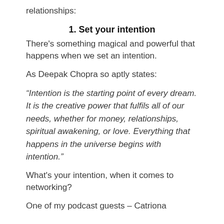relationships:
1. Set your intention
There’s something magical and powerful that happens when we set an intention.
As Deepak Chopra so aptly states:
“Intention is the starting point of every dream. It is the creative power that fulfils all of our needs, whether for money, relationships, spiritual awakening, or love. Everything that happens in the universe begins with intention.”
What’s your intention, when it comes to networking?
One of my podcast guests – Catriona